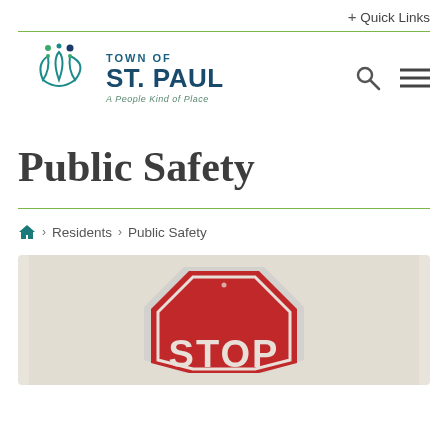+ Quick Links
[Figure (logo): Town of St. Paul logo with teal flower/leaf emblem and text 'TOWN OF ST. PAUL - A People Kind of Place']
Public Safety
Home > Residents > Public Safety
[Figure (photo): Photo of a red stop sign on a grey background, partially visible, showing the word STOP]